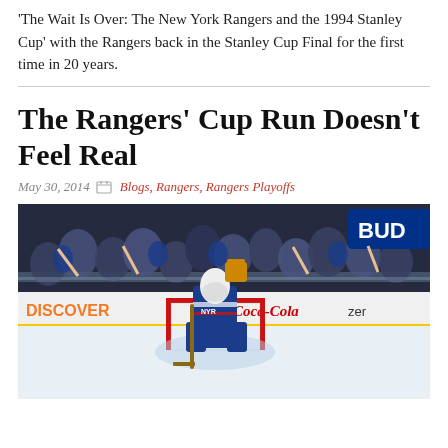'The Wait Is Over: The New York Rangers and the 1994 Stanley Cup' with the Rangers back in the Stanley Cup Final for the first time in 20 years.
The Rangers' Cup Run Doesn't Feel Real
May 30, 2014   Blogs, Rangers, Rangers Playoffs
[Figure (photo): A New York Rangers goalie raises his glove in celebration in front of the net as fans cheer behind the glass. Rinkside ads visible include Discover, Coca-Cola zero, and Bud.]